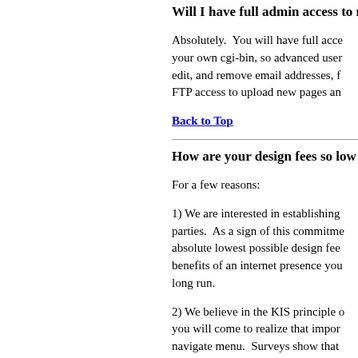Will I have full admin access to m
Absolutely.  You will have full acce your own cgi-bin, so advanced user edit, and remove email addresses, f FTP access to upload new pages an
Back to Top
How are your design fees so low ?
For a few reasons:
1) We are interested in establishing parties.  As a sign of this commitme absolute lowest possible design fee benefits of an internet presence you long run.
2) We believe in the KIS principle o you will come to realize that impor navigate menu.  Surveys show that complicated page layout as it can co incorporate other elements such as